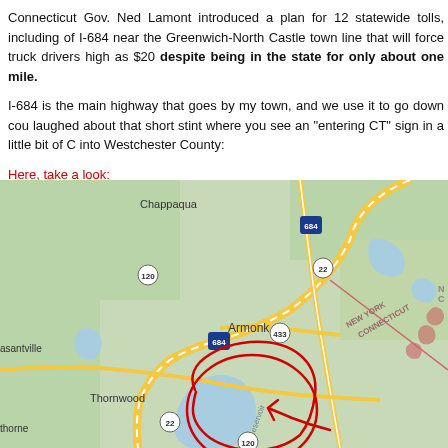Connecticut Gov. Ned Lamont introduced a plan for 12 statewide tolls, including of I-684 near the Greenwich-North Castle town line that will force truck drivers high as $20 despite being in the state for only about one mile.
I-684 is the main highway that goes by my town, and we use it to go down cou laughed about that short stint where you see an "entering CT" sign in a little bit of C into Westchester County:
Here, take a look:
[Figure (map): Google Maps screenshot showing the New York-Connecticut border area with I-684, Armonk, Chappaqua, Thornwood, Pleasantville, and surrounding areas. A red hand-drawn circle and arrow annotation marks a spot on I-684 near the NY-CT border south of Armonk.]